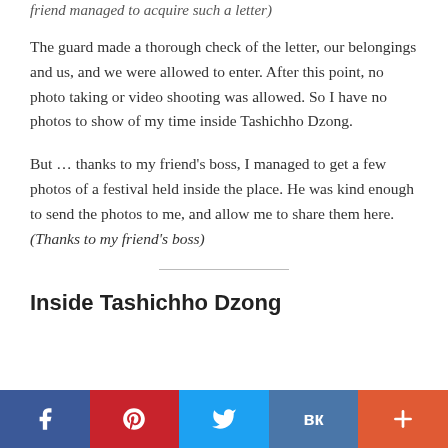friend managed to acquire such a letter)
The guard made a thorough check of the letter, our belongings and us, and we were allowed to enter. After this point, no photo taking or video shooting was allowed. So I have no photos to show of my time inside Tashichho Dzong.
But … thanks to my friend's boss, I managed to get a few photos of a festival held inside the place. He was kind enough to send the photos to me, and allow me to share them here. (Thanks to my friend's boss)
Inside Tashichho Dzong
[Figure (infographic): Social media share buttons bar: Facebook (dark blue), Pinterest (red), Twitter (light blue), VK (blue), More/Plus (orange-red)]